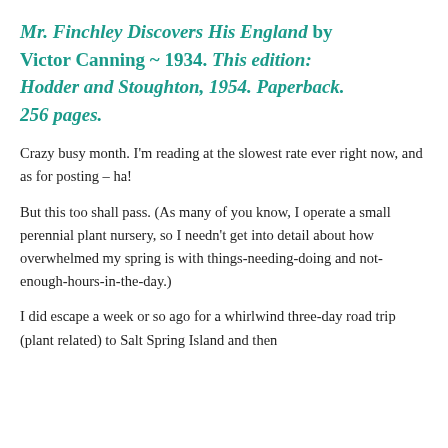Mr. Finchley Discovers His England by Victor Canning ~ 1934. This edition: Hodder and Stoughton, 1954. Paperback. 256 pages.
Crazy busy month. I'm reading at the slowest rate ever right now, and as for posting – ha!
But this too shall pass. (As many of you know, I operate a small perennial plant nursery, so I needn't get into detail about how overwhelmed my spring is with things-needing-doing and not-enough-hours-in-the-day.)
I did escape a week or so ago for a whirlwind three-day road trip (plant related) to Salt Spring Island and then